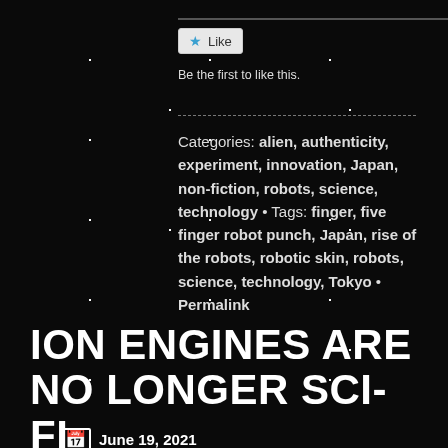[Figure (other): Like button with star icon and text 'Like']
Be the first to like this.
Categories: alien, authenticity, experiment, innovation, Japan, non-fiction, robots, science, technology • Tags: finger, five finger robot punch, Japan, rise of the robots, robotic skin, robots, science, technology, Tokyo • Permalink
ION ENGINES ARE NO LONGER SCI-FI
June 19, 2021